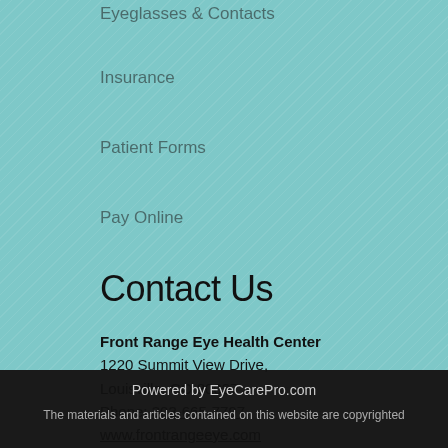Eyeglasses & Contacts
Insurance
Patient Forms
Pay Online
Contact Us
Front Range Eye Health Center
1220 Summit View Drive,
Louisville, CO 80027
Phone: 303-665-7797
www.frontrangeeye.com
Powered by EyeCarePro.com
The materials and articles contained on this website are copyrighted